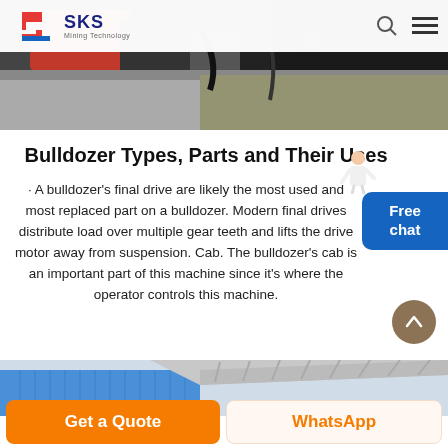[Figure (photo): Close-up photo of heavy machinery / bulldozer parts, industrial equipment with dark tones]
SKS Mining Technology
Bulldozer Types, Parts and Their Uses
· A bulldozer's final drive are likely the most used and most replaced part on a bulldozer. Modern final drives distribute load over multiple gear teeth and lifts the drive motor away from suspension. Cab. The bulldozer's cab is an important part of this machine since it's where the operator controls this machine.
[Figure (photo): Bottom photo showing a building with blue corrugated metal walls and a slanted roof against a light sky]
Get a Quote
WhatsApp